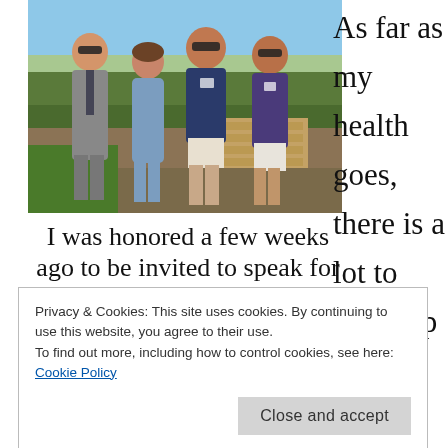[Figure (photo): Four people standing together outdoors on a sunny day with trees and a cityscape in the background. From left: a man in a grey suit with sunglasses, a woman in a blue dress, a man in a floral blue shirt with sunglasses, and a man in a purple floral shirt with sunglasses. Wooden railing visible in background.]
As far as my health goes, there is a lot to catch up on, so I
I was honored a few weeks ago to be invited to speak for Cancer
Privacy & Cookies: This site uses cookies. By continuing to use this website, you agree to their use.
To find out more, including how to control cookies, see here: Cookie Policy
treatment that include counseling.